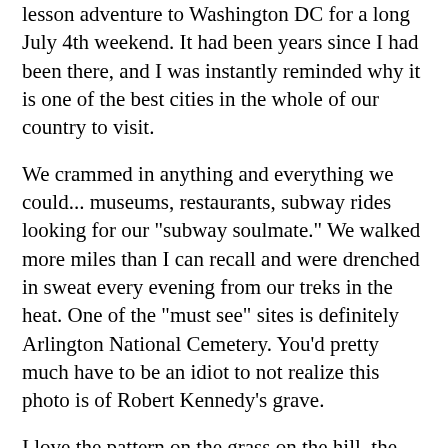lesson adventure to Washington DC for a long July 4th weekend. It had been years since I had been there, and I was instantly reminded why it is one of the best cities in the whole of our country to visit.
We crammed in anything and everything we could... museums, restaurants, subway rides looking for our "subway soulmate." We walked more miles than I can recall and were drenched in sweat every evening from our treks in the heat. One of the "must see" sites is definitely Arlington National Cemetery. You'd pretty much have to be an idiot to not realize this photo is of Robert Kennedy's grave.
I love the pattern on the grass on the hill, the blue sky, and the simple white cross. I've had a fascination with the Kennedy family since I was 12 years old. My grandmother was an avid fan herself. It was that year, in 6th grade, when I promised her that if I ever had a daughter, I would name her Kennedy. (And yes, it kills me that it's becoming popular. I would be ahead of the curve having an 18 year old with that name now!) I plan to stick to that. (Although, when I have said daughter, I won't be calling her by that name on this